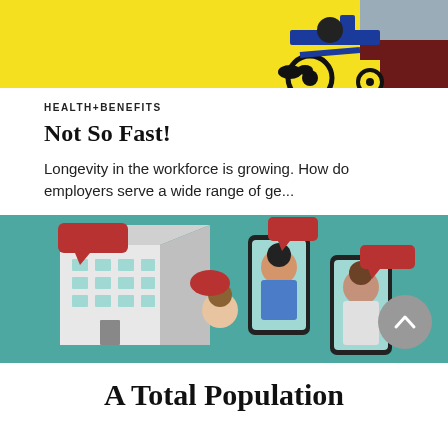[Figure (illustration): Colorful illustration with yellow background showing a person in a wheelchair, blue chair, and maroon/dark red geometric shapes — partial crop at top of page]
HEALTH+BENEFITS
Not So Fast!
Longevity in the workforce is growing. How do employers serve a wide range of ge...
[Figure (illustration): Illustration with teal background showing an isometric building with red speech bubble, and smartphones with people portraits and red speech bubbles]
A Total Population